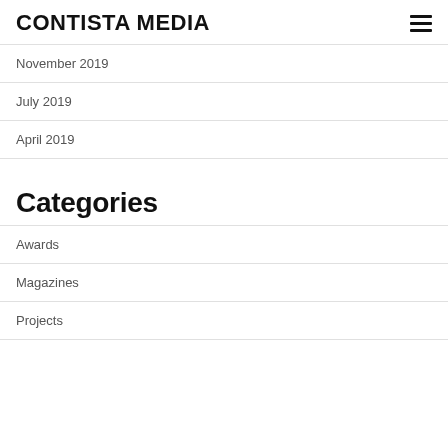CONTISTA MEDIA
November 2019
July 2019
April 2019
Categories
Awards
Magazines
Projects